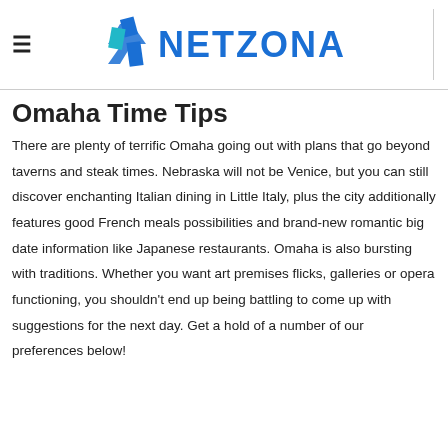NETZONA
Omaha Time Tips
There are plenty of terrific Omaha going out with plans that go beyond taverns and steak times. Nebraska will not be Venice, but you can still discover enchanting Italian dining in Little Italy, plus the city additionally features good French meals possibilities and brand-new romantic big date information like Japanese restaurants. Omaha is also bursting with traditions. Whether you want art premises flicks, galleries or opera functioning, you shouldn't end up being battling to come up with suggestions for the next day. Get a hold of a number of our preferences below!
Searching for big date ideas beyond Omaha? Definitely stop